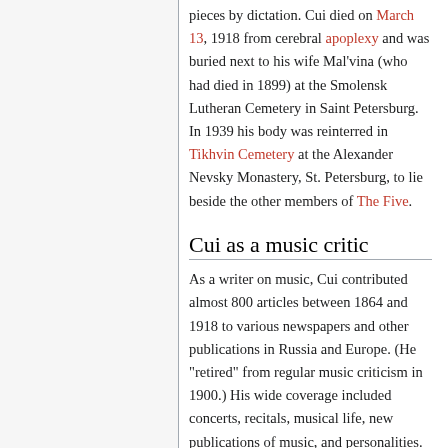pieces by dictation. Cui died on March 13, 1918 from cerebral apoplexy and was buried next to his wife Mal'vina (who had died in 1899) at the Smolensk Lutheran Cemetery in Saint Petersburg. In 1939 his body was reinterred in Tikhvin Cemetery at the Alexander Nevsky Monastery, St. Petersburg, to lie beside the other members of The Five.
Cui as a music critic
As a writer on music, Cui contributed almost 800 articles between 1864 and 1918 to various newspapers and other publications in Russia and Europe. (He "retired" from regular music criticism in 1900.) His wide coverage included concerts, recitals, musical life, new publications of music, and personalities. A significant number of his articles (as